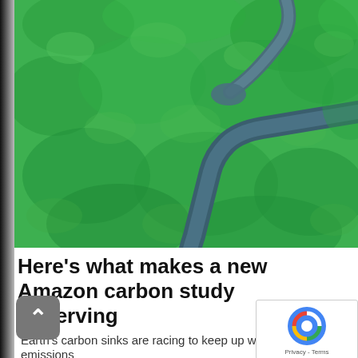[Figure (photo): Aerial photograph of the Amazon rainforest with a winding river cutting through dense green jungle canopy, viewed from above.]
Here's what makes a new Amazon carbon study unnerving
Earth's carbon sinks are racing to keep up with a global emissions...